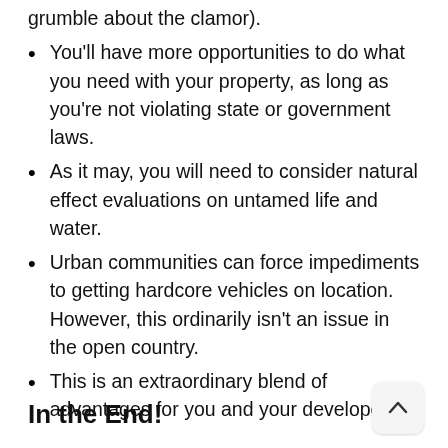grumble about the clamor.
You'll have more opportunities to do what you need with your property, as long as you're not violating state or government laws.
As it may, you will need to consider natural effect evaluations on untamed life and water.
Urban communities can force impediments to getting hardcore vehicles on location. However, this ordinarily isn't an issue in the open country.
This is an extraordinary blend of advantages for you and your developer.
In the End!